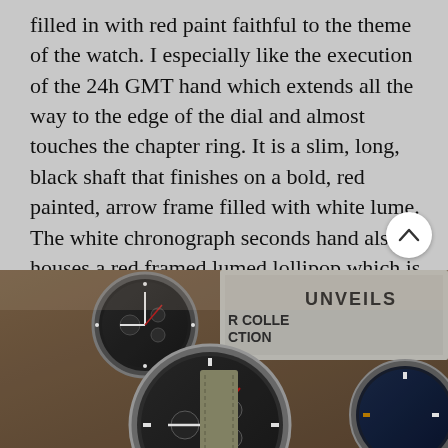filled in with red paint faithful to the theme of the watch. I especially like the execution of the 24h GMT hand which extends all the way to the edge of the dial and almost touches the chapter ring. It is a slim, long, black shaft that finishes on a bold, red painted, arrow frame filled with white lume. The white chronograph seconds hand also houses a red framed lumed lollipop which is a nice homage to older aviator watches.
[Figure (photo): Photo of multiple watches including aviator-style chronographs with leather straps arranged on a surface with a magazine or catalog showing text 'UNVEILS [NEW] COLLECTION']